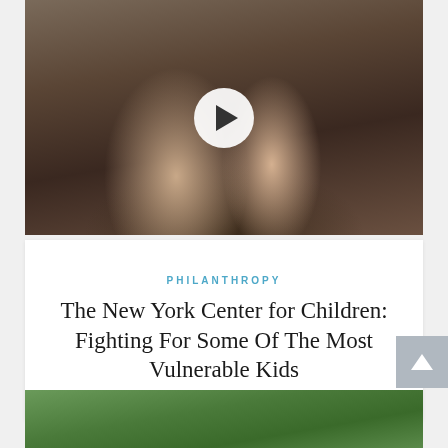[Figure (photo): Two young children sitting together on a wooden floor — a toddler in a light blue outfit and a smiling girl in a polka dot dress hugging him from behind. A white circular play button is overlaid in the center of the image.]
PHILANTHROPY
The New York Center for Children: Fighting For Some Of The Most Vulnerable Kids
[Figure (photo): Partial view of a second article image showing green foliage/trees, visible at the bottom of the page.]